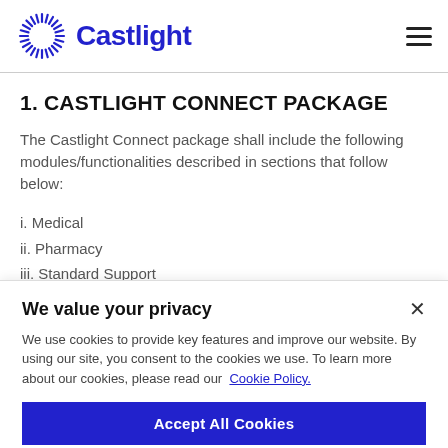Castlight
1. CASTLIGHT CONNECT PACKAGE
The Castlight Connect package shall include the following modules/functionalities described in sections that follow below:
i. Medical
ii. Pharmacy
iii. Standard Support
We value your privacy
We use cookies to provide key features and improve our website. By using our site, you consent to the cookies we use. To learn more about our cookies, please read our Cookie Policy.
Accept All Cookies